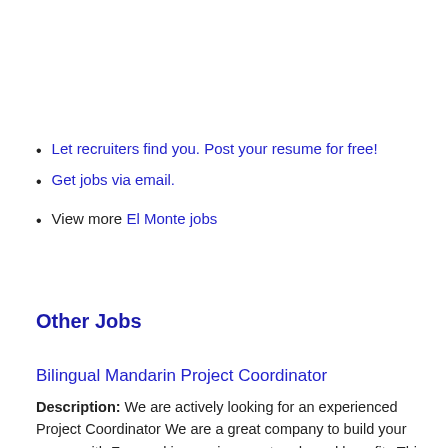Let recruiters find you. Post your resume for free!
Get jobs via email.
View more El Monte jobs
Other Jobs
Bilingual Mandarin Project Coordinator
Description: We are actively looking for an experienced Project Coordinator We are a great company to build your career with Fun working environment and good benefits This